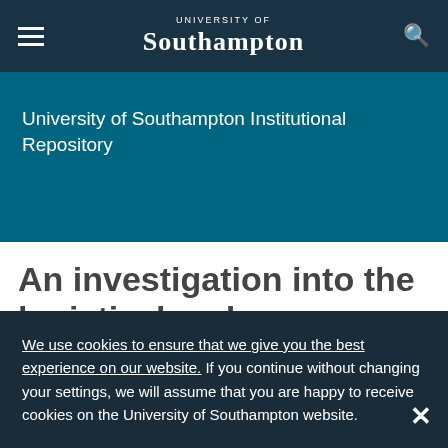University of Southampton — navigation bar with hamburger menu and search icon
University of Southampton Institutional Repository
An investigation into the logistical and economical benefits of using offshore
We use cookies to ensure that we give you the best experience on our website. If you continue without changing your settings, we will assume that you are happy to receive cookies on the University of Southampton website.